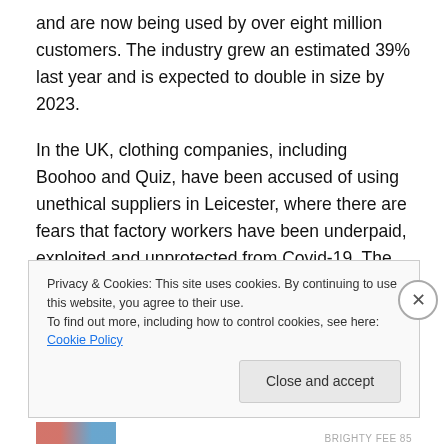and are now being used by over eight million customers. The industry grew an estimated 39% last year and is expected to double in size by 2023.
In the UK, clothing companies, including Boohoo and Quiz, have been accused of using unethical suppliers in Leicester, where there are fears that factory workers have been underpaid, exploited and unprotected from Covid-19. The UK minimum wage is US$ 11.15, whilst there are reports that Quiz has suspended a supplier after it was found paying just US$ 3.84 an hour to make its clothes. It
Privacy & Cookies: This site uses cookies. By continuing to use this website, you agree to their use.
To find out more, including how to control cookies, see here: Cookie Policy